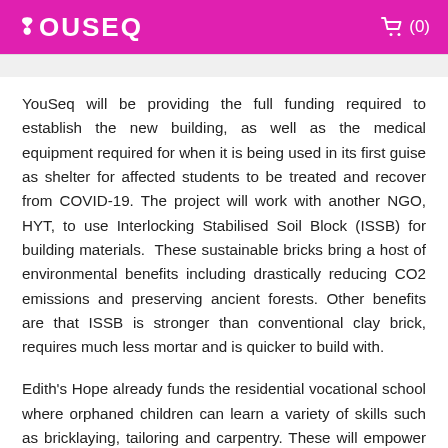YOUSEQ  🛒 (0)
YouSeq will be providing the full funding required to establish the new building, as well as the medical equipment required for when it is being used in its first guise as shelter for affected students to be treated and recover from COVID-19. The project will work with another NGO, HYT, to use Interlocking Stabilised Soil Block (ISSB) for building materials.  These sustainable bricks bring a host of environmental benefits including drastically reducing CO2 emissions and preserving ancient forests. Other benefits are that ISSB is stronger than conventional clay brick, requires much less mortar and is quicker to build with.
Edith's Hope already funds the residential vocational school where orphaned children can learn a variety of skills such as bricklaying, tailoring and carpentry. These will empower them to earn a wage, in turn enabling them to support themselves and their siblings.